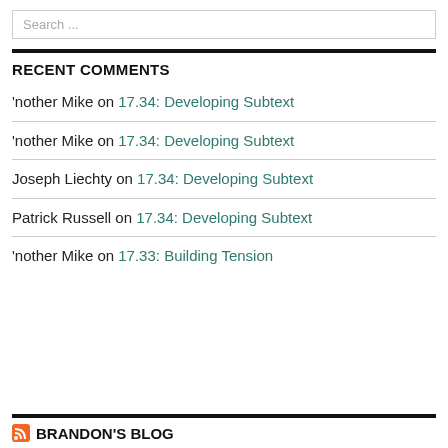Search ...
RECENT COMMENTS
'nother Mike on 17.34: Developing Subtext
'nother Mike on 17.34: Developing Subtext
Joseph Liechty on 17.34: Developing Subtext
Patrick Russell on 17.34: Developing Subtext
'nother Mike on 17.33: Building Tension
BRANDON'S BLOG